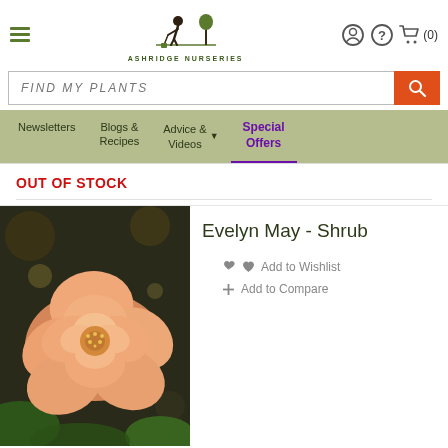Ashridge Nurseries — navigation header with logo, hamburger menu, search bar, and nav links: Newsletters, Blogs & Recipes, Advice & Videos, Special Offers
OUT OF STOCK
Evelyn May - Shrub
[Figure (photo): Close-up photo of a peach/salmon-coloured rose bloom with green leaves in background]
Add to Wishlist
Add to Compare